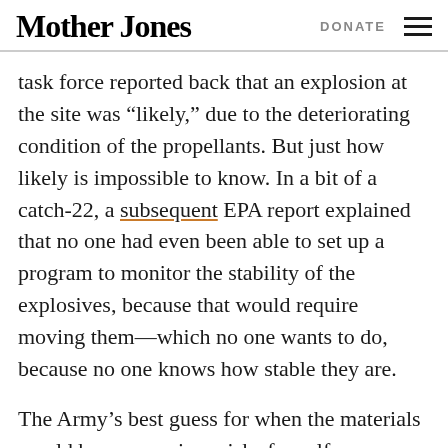Mother Jones | DONATE
task force reported back that an explosion at the site was “likely,” due to the deteriorating condition of the propellants. But just how likely is impossible to know. In a bit of a catch-22, a subsequent EPA report explained that no one had even been able to set up a program to monitor the stability of the explosives, because that would require moving them—which no one wants to do, because no one knows how stable they are.
The Army’s best guess for when the materials would become serious risks for self-combustion was August of 2015.